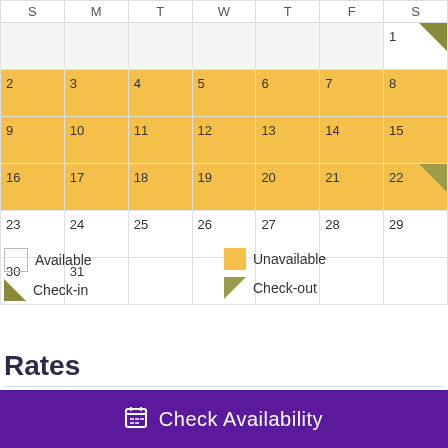| S | M | T | W | T | F | S |
| --- | --- | --- | --- | --- | --- | --- |
|  |  |  |  |  |  | 1 |
| 2 | 3 | 4 | 5 | 6 | 7 | 8 |
| 9 | 10 | 11 | 12 | 13 | 14 | 15 |
| 16 | 17 | 18 | 19 | 20 | 21 | 22 |
| 23 | 24 | 25 | 26 | 27 | 28 | 29 |
| 30 | 31 |  |  |  |  |  |
Available
Unavailable
Check-in
Check-out
Rates
* Rates are subject to change without notice. Pricing excludes taxes, additional
Check Availability